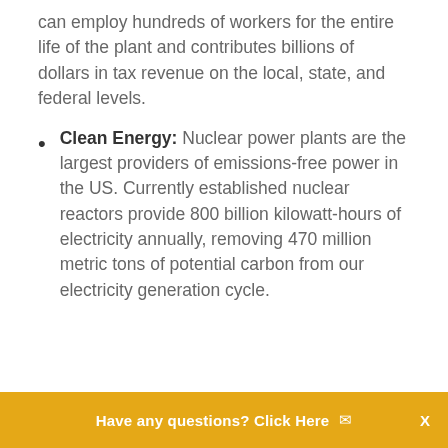can employ hundreds of workers for the entire life of the plant and contributes billions of dollars in tax revenue on the local, state, and federal levels.
Clean Energy: Nuclear power plants are the largest providers of emissions-free power in the US. Currently established nuclear reactors provide 800 billion kilowatt-hours of electricity annually, removing 470 million metric tons of potential carbon from our electricity generation cycle.
Have any questions? Click Here   ✉   X